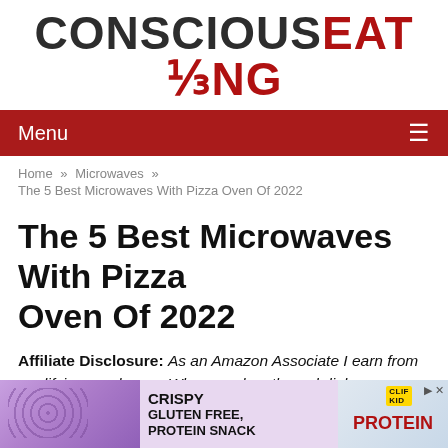CONSCIOUS EATING
Menu
Home » Microwaves »
The 5 Best Microwaves With Pizza Oven Of 2022
The 5 Best Microwaves With Pizza Oven Of 2022
Affiliate Disclosure: As an Amazon Associate I earn from qualifying purchases. When you buy through links on our site, we may earn an affiliate commission at no
[Figure (photo): Advertisement banner: Crispy Gluten Free, Protein Snack ad with purple background and food imagery, CLIF KID and Protein branding]